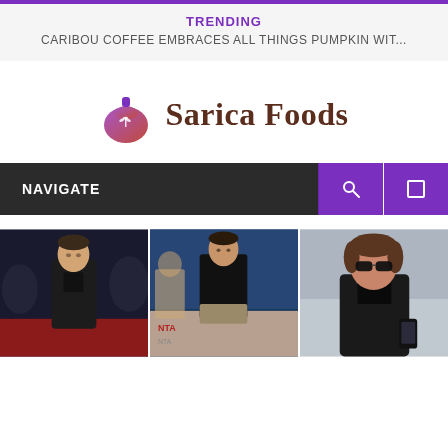TRENDING
CARIBOU COFFEE EMBRACES ALL THINGS PUMPKIN WIT...
[Figure (logo): Sarica Foods logo with a grain sack icon and text 'Sarica Foods' in dark brown serif font]
NAVIGATE
[Figure (photo): Three side-by-side photos of the same man (Jonathan Ross) at different events: on a red carpet in black jacket, at NTA awards in black shirt with khaki pants, and wearing sunglasses in a leather jacket holding a phone]